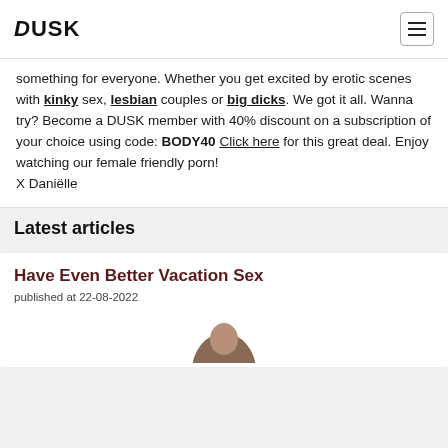DUSK
something for everyone. Whether you get excited by erotic scenes with kinky sex, lesbian couples or big dicks. We got it all. Wanna try? Become a DUSK member with 40% discount on a subscription of your choice using code: BODY40 Click here for this great deal. Enjoy watching our female friendly porn! X Daniëlle
Latest articles
Have Even Better Vacation Sex
published at 22-08-2022
[Figure (photo): Partial circular photo thumbnail at bottom of card]